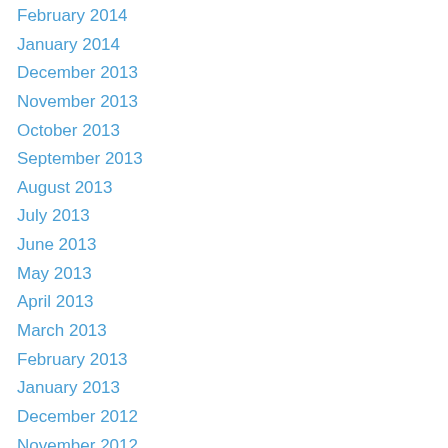February 2014
January 2014
December 2013
November 2013
October 2013
September 2013
August 2013
July 2013
June 2013
May 2013
April 2013
March 2013
February 2013
January 2013
December 2012
November 2012
September 2012
August 2012
July 2012
June 2012